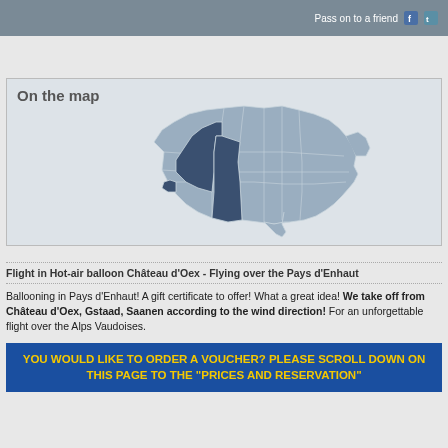Pass on to a friend
[Figure (map): Map of Switzerland with cantons outlined. One canton (Vaud region, western area) highlighted in dark blue/navy, rest in light blue-grey. Title: On the map.]
Flight in Hot-air balloon Château d'Oex - Flying over the Pays d'Enhaut
Ballooning in Pays d'Enhaut! A gift certificate to offer! What a great idea! We take off from Château d'Oex, Gstaad, Saanen according to the wind direction! For an unforgettable flight over the Alps Vaudoises.
YOU WOULD LIKE TO ORDER A VOUCHER? PLEASE SCROLL DOWN ON THIS PAGE TO THE "PRICES AND RESERVATION"